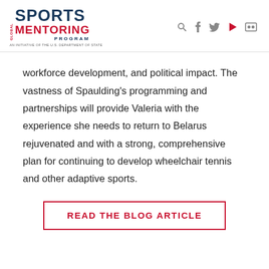GLOBAL SPORTS MENTORING PROGRAM — AN INITIATIVE OF THE U.S. DEPARTMENT OF STATE
workforce development, and political impact. The vastness of Spaulding's programming and partnerships will provide Valeria with the experience she needs to return to Belarus rejuvenated and with a strong, comprehensive plan for continuing to develop wheelchair tennis and other adaptive sports.
READ THE BLOG ARTICLE